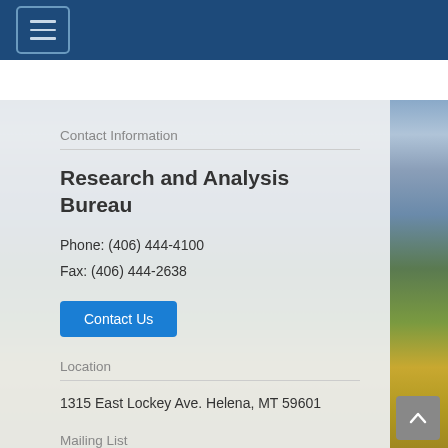Navigation menu (hamburger button)
Contact Information
Research and Analysis Bureau
Phone: (406) 444-4100
Fax: (406) 444-2638
Contact Us
Location
1315 East Lockey Ave. Helena, MT 59601
Mailing List
Economy at a Glance   Subscribe